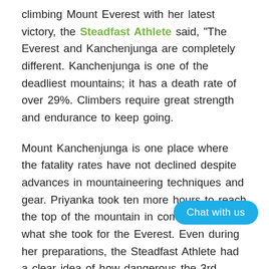climbing Mount Everest with her latest victory, the Steadfast Athlete said, "The Everest and Kanchenjunga are completely different. Kanchenjunga is one of the deadliest mountains; it has a death rate of over 29%. Climbers require great strength and endurance to keep going.
Mount Kanchenjunga is one place where the fatality rates have not declined despite advances in mountaineering techniques and gear. Priyanka took ten more hours to reach the top of the mountain in comparison to what she took for the Everest. Even during her preparations, the Steadfast Athlete had a clear idea of how dangerous the 3rd highest peak ... on a really strict diet and was hea... Steadfast Nutrition products.
[Figure (other): A blue rounded button/widget overlay with the text 'Chat with us']